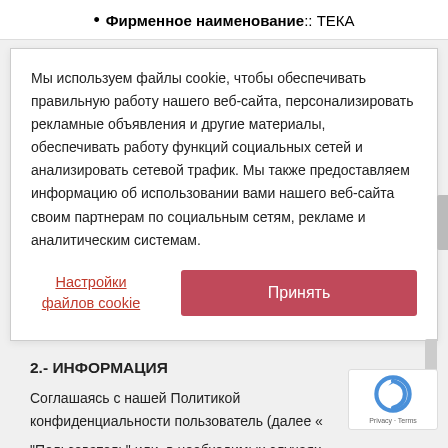Фирменное наименование:: ТЕКА
Мы используем файлы cookie, чтобы обеспечивать правильную работу нашего веб-сайта, персонализировать рекламные объявления и другие материалы, обеспечивать работу функций социальных сетей и анализировать сетевой трафик. Мы также предоставляем информацию об использовании вами нашего веб-сайта своим партнерам по социальным сетям, рекламе и аналитическим системам.
Настройки файлов cookie
Принять
2.- ИНФОРМАЦИЯ
Соглашаясь с нашей Политикой конфиденциальности пользователь (далее «Пользователь» или, в необходимых случаях,